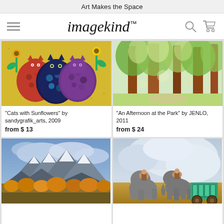Art Makes the Space
[Figure (logo): imagekind logo with hamburger menu, search icon, and cart icon]
[Figure (photo): Colorful painting of three cats with floral patterns surrounded by sunflowers on yellow background]
“Cats with Sunflowers” by sandygrafik_arts, 2009
from $ 13
[Figure (photo): Impressionist painting of trees in a park with green and yellow foliage]
“An Afternoon at the Park” by JENLO, 2011
from $ 24
[Figure (photo): Photograph of snow-capped mountains with autumn foliage in the foreground]
[Figure (photo): Painting of elephants pulling a colorful wagon across a golden field under dramatic clouds]